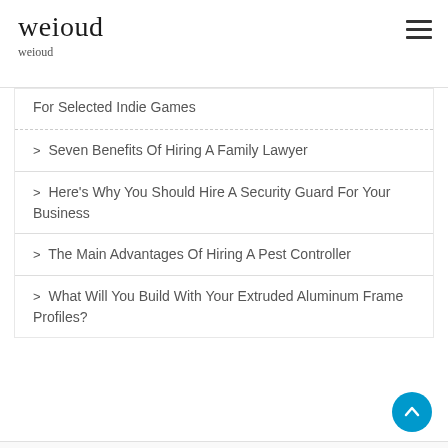weioud
weioud
For Selected Indie Games
Seven Benefits Of Hiring A Family Lawyer
Here's Why You Should Hire A Security Guard For Your Business
The Main Advantages Of Hiring A Pest Controller
What Will You Build With Your Extruded Aluminum Frame Profiles?